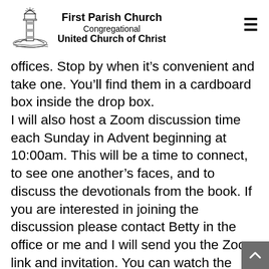[Figure (logo): First Parish Church lighthouse illustration logo]
First Parish Church
Congregational
United Church of Christ
offices. Stop by when it’s convenient and take one. You’ll find them in a cardboard box inside the drop box.
I will also host a Zoom discussion time each Sunday in Advent beginning at 10:00am. This will be a time to connect, to see one another’s faces, and to discuss the devotionals from the book. If you are interested in joining the discussion please contact Betty in the office or me and I will send you the Zoom link and invitation. You can watch the virtual worship service and